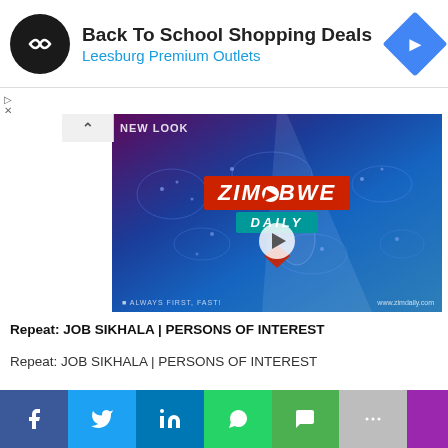[Figure (infographic): Ad banner: Back To School Shopping Deals at Leesburg Premium Outlets with logo and navigation arrow]
[Figure (screenshot): Zimbabwe Daily news video thumbnail with world map background showing ZIMBABWE DAILY logo, tagline ALWAYS FIRST, FAST! and www.zimdaily.com]
Repeat: JOB SIKHALA | PERSONS OF INTEREST
Repeat: JOB SIKHALA | PERSONS OF INTEREST
[Figure (infographic): Social media share bar with Facebook, Twitter, LinkedIn, WhatsApp, SMS, More, and a purple section]